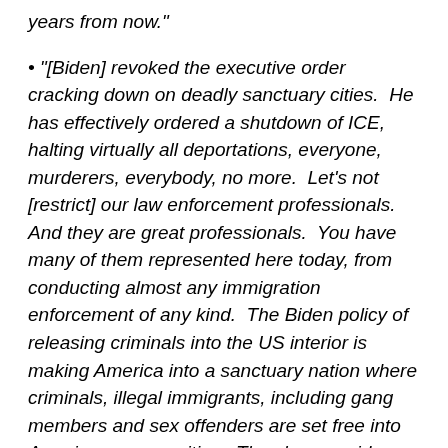years from now."
"[Biden] revoked the executive order cracking down on deadly sanctuary cities.  He has effectively ordered a shutdown of ICE, halting virtually all deportations, everyone, murderers, everybody, no more.  Let's not [restrict] our law enforcement professionals.  And they are great professionals.  You have many of them represented here today, from conducting almost any immigration enforcement of any kind.  The Biden policy of releasing criminals into the US interior is making America into a sanctuary nation where criminals, illegal immigrants, including gang members and sex offenders are set free into American communities.  They have no idea who's coming up.  And remember with the caravans, these countries, not only the three of them, but many, many countries all over the world.  They're not giving us their